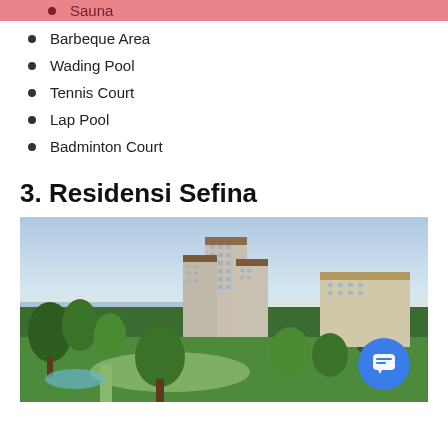Sauna
Barbeque Area
Wading Pool
Tennis Court
Lap Pool
Badminton Court
3. Residensi Sefina
[Figure (photo): Exterior view of Residensi Sefina residential towers with lush greenery, landscaped gardens, a pool area, and a lake in the background at sunset.]